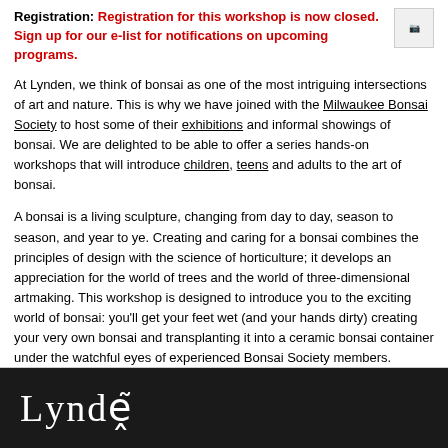Registration: Registration for this workshop is now closed. Sign up for our e-list for notifications on upcoming programs.
At Lynden, we think of bonsai as one of the most intriguing intersections of art and nature. This is why we have joined with the Milwaukee Bonsai Society to host some of their exhibitions and informal showings of bonsai. We are delighted to be able to offer a series hands-on workshops that will introduce children, teens and adults to the art of bonsai.
A bonsai is a living sculpture, changing from day to day, season to season, and year to year. Creating and caring for a bonsai combines the principles of design with the science of horticulture; it develops an appreciation for the world of trees and the world of three-dimensional artmaking. This workshop is designed to introduce you to the exciting world of bonsai: you'll get your feet wet (and your hands dirty) creating your very own bonsai and transplanting it into a ceramic bonsai container under the watchful eyes of experienced Bonsai Society members.
The Milwaukee Bonsai Society, Inc. is a non-profit organization dedicated to helping individuals in their efforts to increase their knowledge and skills in the art of bonsai.
Lynden